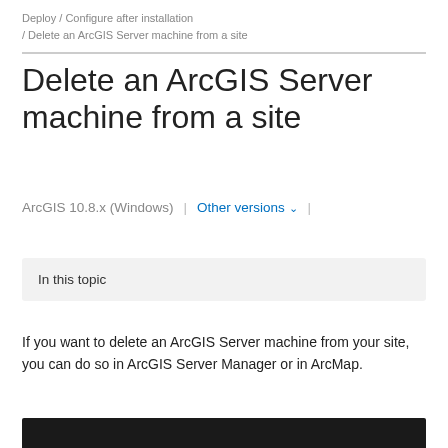Deploy / Configure after installation / Delete an ArcGIS Server machine from a site
Delete an ArcGIS Server machine from a site
ArcGIS 10.8.x (Windows) | Other versions ∨ | Help archive
In this topic
If you want to delete an ArcGIS Server machine from your site, you can do so in ArcGIS Server Manager or in ArcMap.